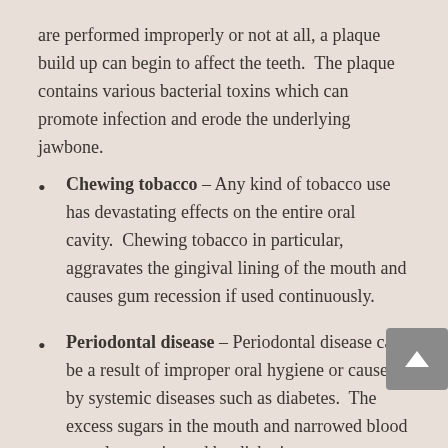are performed improperly or not at all, a plaque build up can begin to affect the teeth. The plaque contains various bacterial toxins which can promote infection and erode the underlying jawbone.
Chewing tobacco – Any kind of tobacco use has devastating effects on the entire oral cavity. Chewing tobacco in particular, aggravates the gingival lining of the mouth and causes gum recession if used continuously.
Periodontal disease – Periodontal disease can be a result of improper oral hygiene or caused by systemic diseases such as diabetes. The excess sugars in the mouth and narrowed blood vessels experienced by diabetics create a perfect environment for oral bacteria. The bacterium causes an infection which progresses deeper and deeper into the gum and bone tissue, eventually